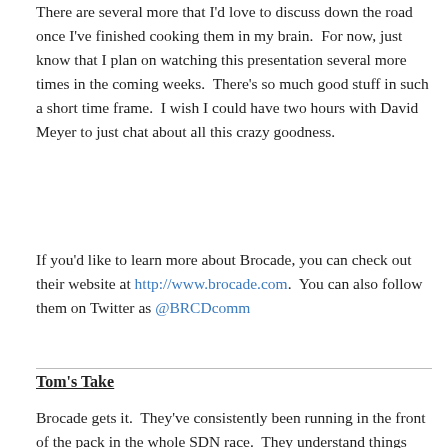There are several more that I'd love to discuss down the road once I've finished cooking them in my brain.  For now, just know that I plan on watching this presentation several more times in the coming weeks.  There's so much good stuff in such a short time frame.  I wish I could have two hours with David Meyer to just chat about all this crazy goodness.
If you'd like to learn more about Brocade, you can check out their website at http://www.brocade.com.  You can also follow them on Twitter as @BRCDcomm
Tom's Take
Brocade gets it.  They've consistently been running in the front of the pack in the whole SDN race.  They understand things like OpenFlow.  They see where the applications